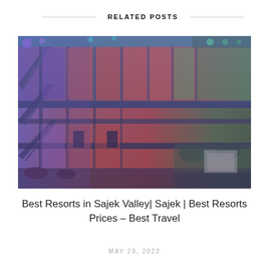RELATED POSTS
[Figure (photo): Colorful illuminated multi-story resort building at night with purple, orange, red and green lighting on balconies and railings, interior courtyard view]
Best Resorts in Sajek Valley| Sajek | Best Resorts Prices – Best Travel
MAY 29, 2022